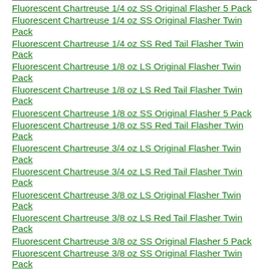Fluorescent Chartreuse 1/4 oz SS Original Flasher 5 Pack
Fluorescent Chartreuse 1/4 oz SS Original Flasher Twin Pack
Fluorescent Chartreuse 1/4 oz SS Red Tail Flasher Twin Pack
Fluorescent Chartreuse 1/8 oz LS Original Flasher Twin Pack
Fluorescent Chartreuse 1/8 oz LS Red Tail Flasher Twin Pack
Fluorescent Chartreuse 1/8 oz SS Original Flasher 5 Pack
Fluorescent Chartreuse 1/8 oz SS Red Tail Flasher Twin Pack
Fluorescent Chartreuse 3/4 oz LS Original Flasher Twin Pack
Fluorescent Chartreuse 3/4 oz LS Red Tail Flasher Twin Pack
Fluorescent Chartreuse 3/8 oz LS Original Flasher Twin Pack
Fluorescent Chartreuse 3/8 oz LS Red Tail Flasher Twin Pack
Fluorescent Chartreuse 3/8 oz SS Original Flasher 5 Pack
Fluorescent Chartreuse 3/8 oz SS Original Flasher Twin Pack
Fluorescent Chartreuse 3/8 oz SS Red Tail Flasher Twin Pack
Fluorescent Chartreuse and Green Tip w/Chartreuse Beads 6 ea.
Fluorescent Chartreuse and Orange Tip w/Chartreuse Beads 6 ea.
Fluorescent Chartreuse and Orange Tip w/Red Beads 6 ea.